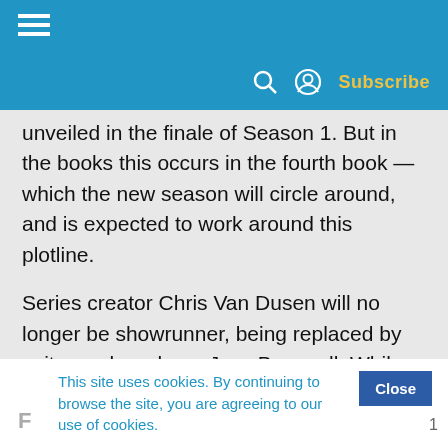Subscribe
unveiled in the finale of Season 1. But in the books this occurs in the fourth book — which the new season will circle around, and is expected to work around this plotline.

Series creator Chris Van Dusen will no longer be showrunner, being replaced by writer and producer Jess Brownell. While the role of sixth Bridgerton child and third daughter Francesca has been recasted with Hannah Dodd, as the original actress Ruby Stokes was given the lead of another Netflix show
This site uses cookies. By continuing to browse the site, you are agreeing to our use of cookies.